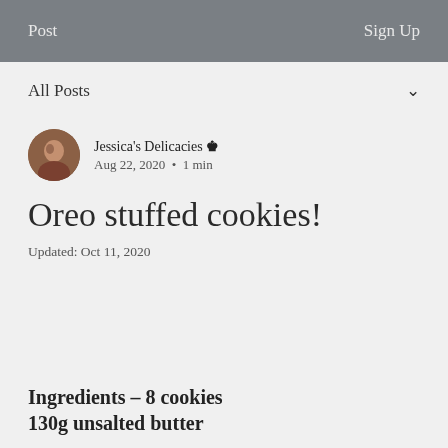Post   Sign Up
All Posts
Jessica's Delicacies 👑
Aug 22, 2020 · 1 min
Oreo stuffed cookies!
Updated: Oct 11, 2020
Ingredients – 8 cookies
130g unsalted butter